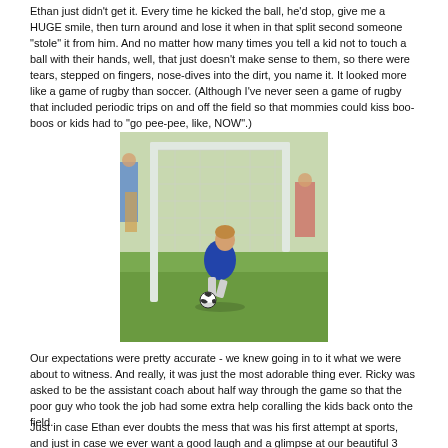Ethan just didn't get it. Every time he kicked the ball, he'd stop, give me a HUGE smile, then turn around and lose it when in that split second someone "stole" it from him. And no matter how many times you tell a kid not to touch a ball with their hands, well, that just doesn't make sense to them, so there were tears, stepped on fingers, nose-dives into the dirt, you name it. It looked more like a game of rugby than soccer. (Although I've never seen a game of rugby that included periodic trips on and off the field so that mommies could kiss boo-boos or kids had to "go pee-pee, like, NOW".)
[Figure (photo): A young child in a blue soccer jersey sitting inside a small soccer goal on a grass field, reaching toward a soccer ball. Other people are visible in the background.]
Our expectations were pretty accurate - we knew going in to it what we were about to witness. And really, it was just the most adorable thing ever. Ricky was asked to be the assistant coach about half way through the game so that the poor guy who took the job had some extra help coralling the kids back onto the field.
Just in case Ethan ever doubts the mess that was his first attempt at sports, and just in case we ever want a good laugh and a glimpse at our beautiful 3 year old boy in all his soccer glory, we